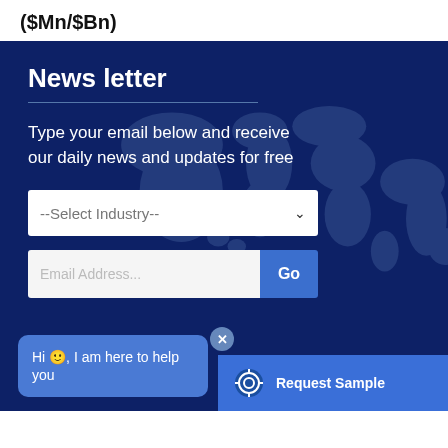($Mn/$Bn)
News letter
Type your email below and receive our daily news and updates for free
--Select Industry--
Email Address...
Go
Hi 🙂, I am here to help you
Request Sample